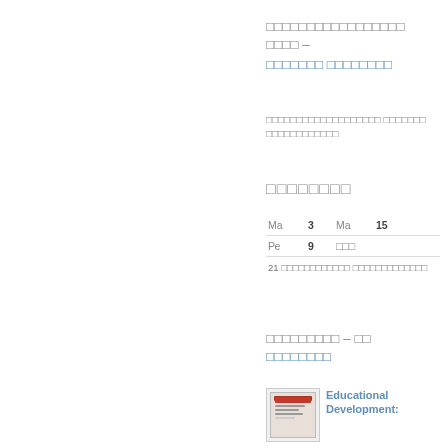□□□□□□□□□□□□□□□□□ □□□□ – □□□□□□□ □□□□□□□□
□□□□□□□□□□□□□□□□□□□ □□□□□□□ □□□□□□□□□□□□
□□□□□□□□
| Ма | 3 | Ма | 15 |
| Ре | 9 | □□□ |  |
| 21 □□□□□□□□□□□□ □□□□□□□□□□□□□ |  |  |  |
□□□□□□□□□ – □□ □□□□□□□□
[Figure (photo): Book cover thumbnail for Educational Development]